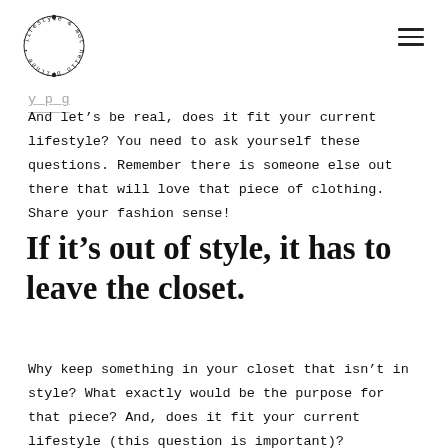hello britnee • lifestyle & motherhood
And let's be real, does it fit your current lifestyle? You need to ask yourself these questions. Remember there is someone else out there that will love that piece of clothing. Share your fashion sense!
If it's out of style, it has to leave the closet.
Why keep something in your closet that isn't in style? What exactly would be the purpose for that piece? And, does it fit your current lifestyle (this question is important)?